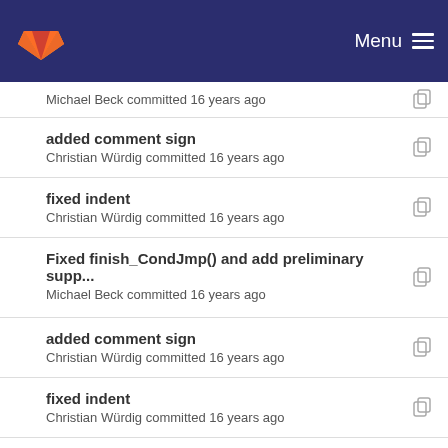Menu
Michael Beck committed 16 years ago
added comment sign
Christian Würdig committed 16 years ago
fixed indent
Christian Würdig committed 16 years ago
Fixed finish_CondJmp() and add preliminary supp...
Michael Beck committed 16 years ago
added comment sign
Christian Würdig committed 16 years ago
fixed indent
Christian Würdig committed 16 years ago
beautified emitter
Christian Würdig committed 16 years ago
Imprint